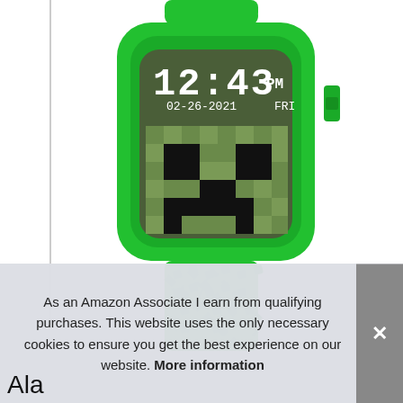[Figure (photo): A green Minecraft-themed kids smartwatch displaying 12:43 PM on 02-26-2021 FRI with a Creeper face pixel art on the screen. The watch has a bright green silicone band with Minecraft Creeper face texture patterns.]
As an Amazon Associate I earn from qualifying purchases. This website uses the only necessary cookies to ensure you get the best experience on our website. More information
Ala